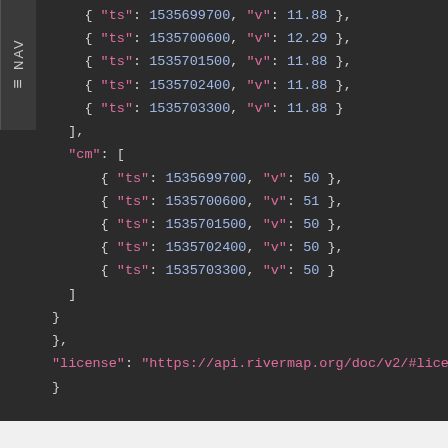[Figure (screenshot): Dark-themed code block showing JSON data with timestamp and value fields for 'cm' array, followed by a license field and closing braces.]
Return readings collected by all active Stations in the indicated time range (last 6 hours by default).
Note: only active stations collect readings